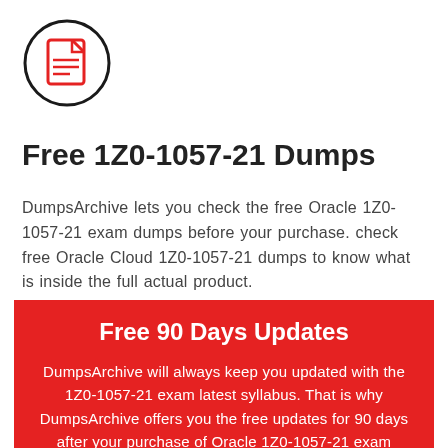[Figure (logo): A red document/file icon with lines representing text, inside a black circle outline.]
Free 1Z0-1057-21 Dumps
DumpsArchive lets you check the free Oracle 1Z0-1057-21 exam dumps before your purchase. check free Oracle Cloud 1Z0-1057-21 dumps to know what is inside the full actual product.
Free 90 Days Updates
DumpsArchive will always keep you updated with the 1Z0-1057-21 exam latest syllabus. That is why DumpsArchive offers you the free updates for 90 days after your purchase of Oracle 1Z0-1057-21 exam dumps.